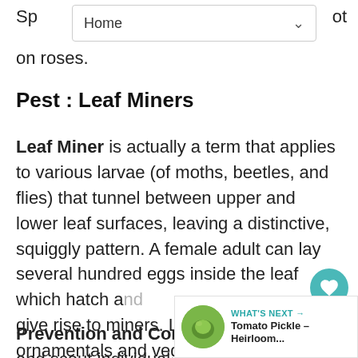Sp ... ot
on roses.
Pest : Leaf Miners
Leaf Miner is actually a term that applies to various larvae (of moths, beetles, and flies) that tunnel between upper and lower leaf surfaces, leaving a distinctive, squiggly pattern. A female adult can lay several hundred eggs inside the leaf which hatch and give rise to miners. Leaf miners attack ornamentals and vegetables.
Prevention and Control: Keep we... and scout individual plants for tell-tale
[Figure (screenshot): Navigation bar with 'Home' text and dropdown chevron]
[Figure (infographic): Teal circular heart/like button with count of 1, and a share button below it]
[Figure (infographic): What's Next banner with tomato pickle heirloom thumbnail image and text 'Tomato Pickle – Heirloom...']